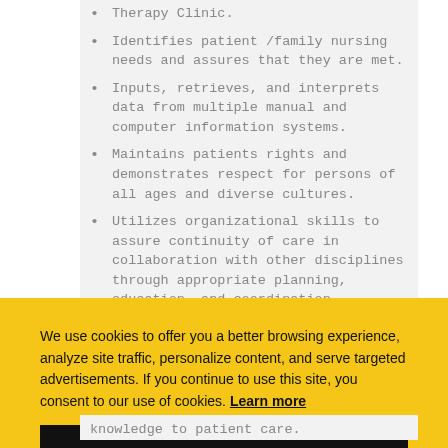Therapy Clinic.
Identifies patient /family nursing needs and assures that they are met.
Inputs, retrieves, and interprets data from multiple manual and computer information systems.
Maintains patients rights and demonstrates respect for persons of all ages and diverse cultures.
Utilizes organizational skills to assure continuity of care in collaboration with other disciplines through appropriate planning, education, and coordination
We use cookies to offer you a better browsing experience, analyze site traffic, personalize content, and serve targeted advertisements. If you continue to use this site, you consent to our use of cookies. Learn more
Got it!
knowledge to patient care.